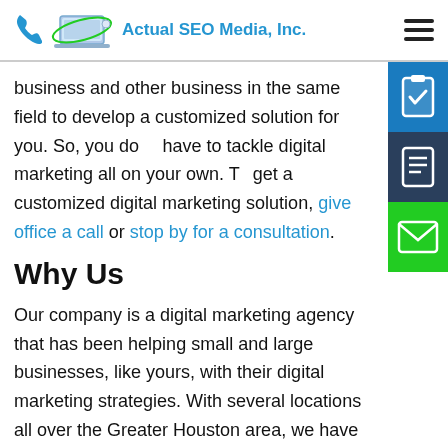Actual SEO Media, Inc.
business and other business in the same field to develop a customized solution for you. So, you don't have to tackle digital marketing all on your own. To get a customized digital marketing solution, give our office a call or stop by for a consultation.
Why Us
Our company is a digital marketing agency that has been helping small and large businesses, like yours, with their digital marketing strategies. With several locations all over the Greater Houston area, we have opened one in The Woodlands as well